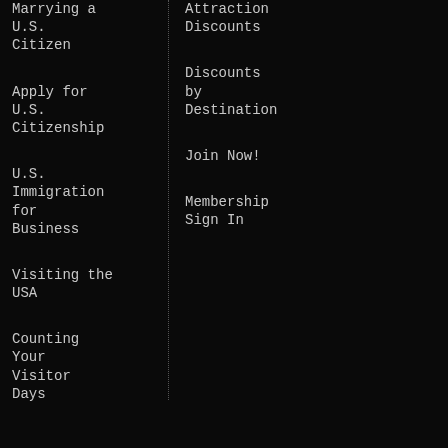Marrying a U.S. Citizen
Apply for U.S. Citizenship
U.S. Immigration for Business
Visiting the USA
Counting Your Visitor Days
Attraction Discounts
Discounts by Destination
Join Now!
Membership Sign In